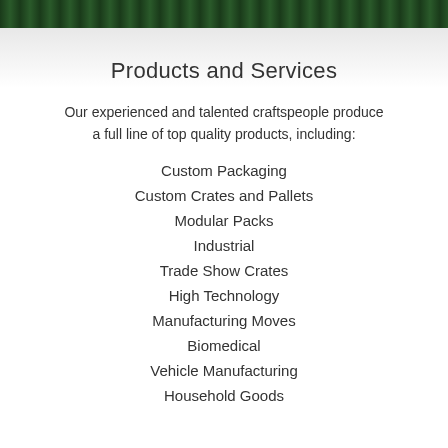Products and Services
Our experienced and talented craftspeople produce a full line of top quality products, including:
Custom Packaging
Custom Crates and Pallets
Modular Packs
Industrial
Trade Show Crates
High Technology
Manufacturing Moves
Biomedical
Vehicle Manufacturing
Household Goods